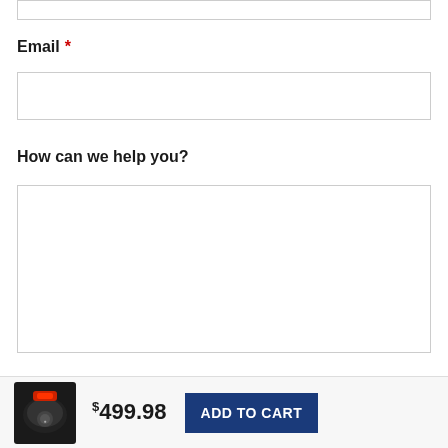Email *
How can we help you?
SUBMIT
$499.98  ADD TO CART